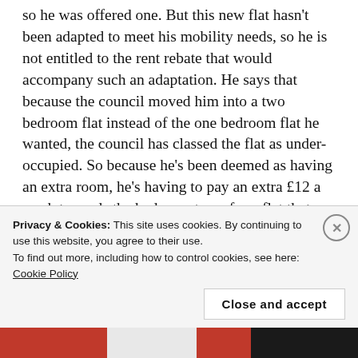so he was offered one. But this new flat hasn't been adapted to meet his mobility needs, so he is not entitled to the rent rebate that would accompany such an adaptation. He says that because the council moved him into a two bedroom flat instead of the one bedroom flat he wanted, the council has classed the flat as under-occupied. So because he's been deemed as having an extra room, he's having to pay an extra £12 a week towards the bedroom tax – for a flat that hasn't even been adapted to meet his physical needs.
Kostna also says that there is apparently some
Privacy & Cookies: This site uses cookies. By continuing to use this website, you agree to their use.
To find out more, including how to control cookies, see here: Cookie Policy
Close and accept